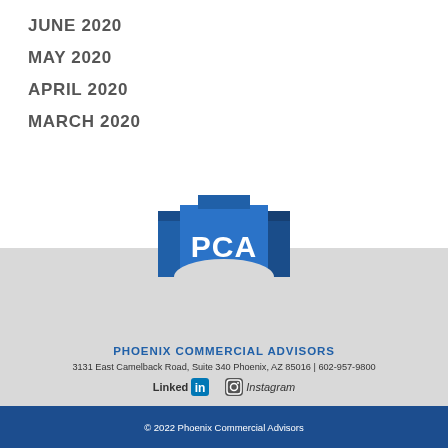JUNE 2020
MAY 2020
APRIL 2020
MARCH 2020
[Figure (logo): Phoenix Commercial Advisors (PCA) logo with blue building icon and text]
PHOENIX COMMERCIAL ADVISORS
3131 East Camelback Road, Suite 340 Phoenix, AZ 85016 | 602-957-9800
LinkedIn  Instagram
© 2022 Phoenix Commercial Advisors